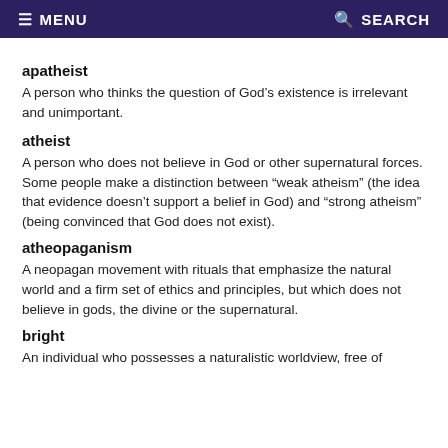MENU  SEARCH
apatheist
A person who thinks the question of God’s existence is irrelevant and unimportant.
atheist
A person who does not believe in God or other supernatural forces. Some people make a distinction between “weak atheism” (the idea that evidence doesn’t support a belief in God) and “strong atheism” (being convinced that God does not exist).
atheopaganism
A neopagan movement with rituals that emphasize the natural world and a firm set of ethics and principles, but which does not believe in gods, the divine or the supernatural.
bright
An individual who possesses a naturalistic worldview, free of...